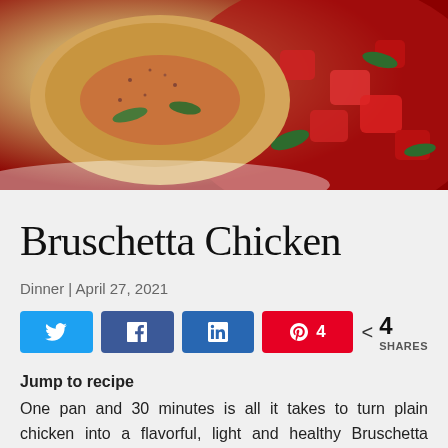[Figure (photo): A plate of Bruschetta Chicken with tomato sauce, fresh basil and seasoning on top]
Bruschetta Chicken
Dinner | April 27, 2021
[Figure (infographic): Social share buttons: Twitter, Facebook, LinkedIn, Pinterest with 4 saves, and a share count of 4 SHARES]
Jump to recipe
One pan and 30 minutes is all it takes to turn plain chicken into a flavorful, light and healthy Bruschetta Chicken!